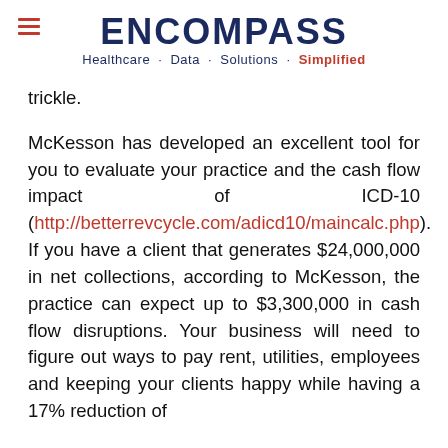ENCOMPASS Healthcare · Data · Solutions · Simplified
trickle.
McKesson has developed an excellent tool for you to evaluate your practice and the cash flow impact of ICD-10 (http://betterrevcycle.com/adicd10/maincalc.php). If you have a client that generates $24,000,000 in net collections, according to McKesson, the practice can expect up to $3,300,000 in cash flow disruptions. Your business will need to figure out ways to pay rent, utilities, employees and keeping your clients happy while having a 17% reduction of